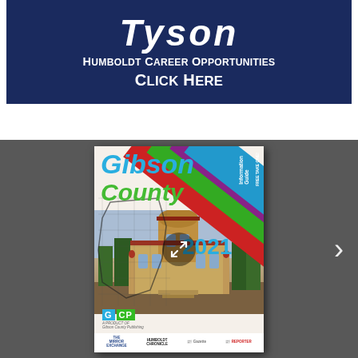[Figure (illustration): Tyson Foods Humboldt Career Opportunities advertisement banner. Dark navy blue background with white text reading 'Tyson' in large italic bold, 'Humboldt Career Opportunities' and 'Click Here' beneath.]
[Figure (photo): Gibson County 2021 Information Guide booklet cover displayed on a dark gray background. The cover shows colorful diagonal stripes (red, green, purple, blue) in the top-right corner with 'Information Guide' and 'FREE TAKE ONE!' text. 'Gibson County' is written in blue and green stylized fonts, '2021' in blue, with a photo of a historic courthouse building. GCP logo at bottom left along with newspaper logos: Mirror Exchange, Humboldt Chronicle, Gazette, Reporter. A circular expand icon overlays the center. A right-arrow navigation chevron is visible on the right.]